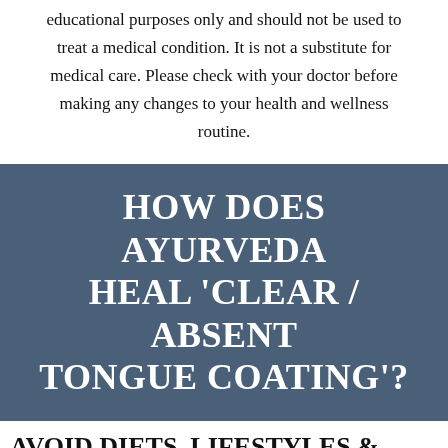educational purposes only and should not be used to treat a medical condition. It is not a substitute for medical care. Please check with your doctor before making any changes to your health and wellness routine.
HOW DOES AYURVEDA HEAL 'CLEAR / ABSENT TONGUE COATING'?
AVOID DIETS, LIFESTYLES & HERBS THAT AGGRAVATE THE S...